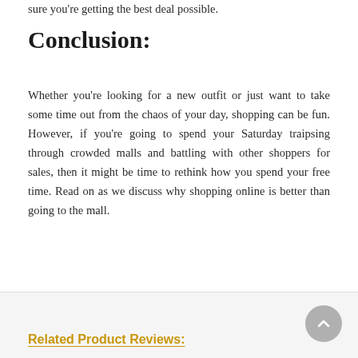sure you're getting the best deal possible.
Conclusion:
Whether you're looking for a new outfit or just want to take some time out from the chaos of your day, shopping can be fun. However, if you're going to spend your Saturday traipsing through crowded malls and battling with other shoppers for sales, then it might be time to rethink how you spend your free time. Read on as we discuss why shopping online is better than going to the mall.
Related Product Reviews: